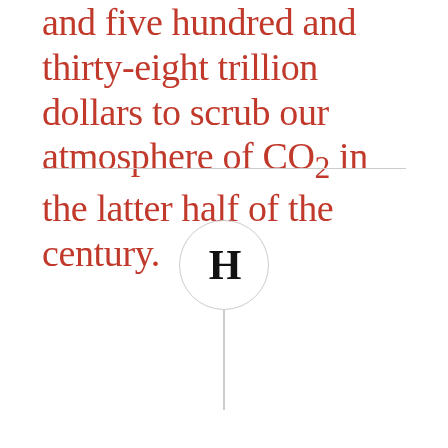and five hundred and thirty-eight trillion dollars to scrub our atmosphere of CO2 in the latter half of the century.
[Figure (logo): A circular logo with the letter H in bold serif font, with a vertical line extending downward from the circle]